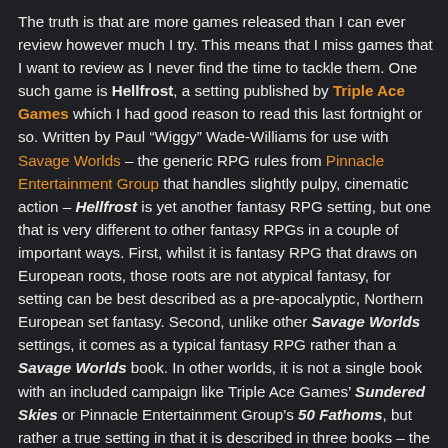The truth is that are more games released than I can ever review however much I try. This means that I miss games that I want to review as I never find the time to tackle them. One such game is Hellfrost, a setting published by Triple Ace Games which I had good reason to read this last fortnight or so. Written by Paul "Wiggy" Wade-Williams for use with Savage Worlds – the generic RPG rules from Pinnacle Entertainment Group that handles slightly pulpy, cinematic action – Hellfrost is yet another fantasy RPG setting, but one that is very different to other fantasy RPGs in a couple of important ways. First, whilst it is fantasy RPG that draws on European roots, those roots are not atypical fantasy, for setting can be best described as a pre-apocalyptic, Northern European set fantasy. Second, unlike other Savage Worlds settings, it comes as a typical fantasy RPG rather than a Savage Worlds book. In other worlds, it is not a single book with an included campaign like Triple Ace Games' Sundered Skies or Pinnacle Entertainment Group's 50 Fathoms, but rather a true setting in that it is described in three books – the Hellfrost Player's Guide, the Hellfrost Bestiary, and the Hellfrost Gazetteer, with